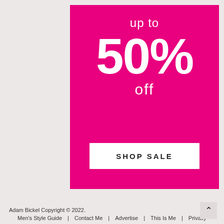[Figure (infographic): Hot pink promotional banner with 'up to 50% off' text in white, and a white 'SHOP SALE' button at the bottom]
Adam Bickel Copyright © 2022.
Men's Style Guide | Contact Me | Advertise | This Is Me | Privacy